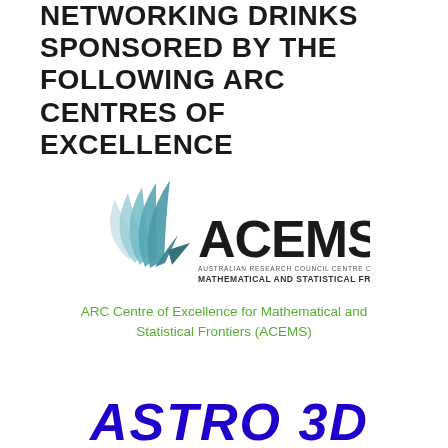NETWORKING DRINKS SPONSORED BY THE FOLLOWING ARC CENTRES OF EXCELLENCE
[Figure (logo): ACEMS logo - Australian Research Council Centre of Excellence for Mathematical and Statistical Frontiers]
ARC Centre of Excellence for Mathematical and Statistical Frontiers (ACEMS)
[Figure (logo): ASTRO 3D logo in blue]